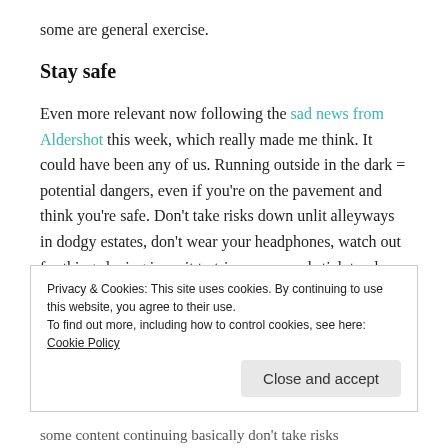some are general exercise.
Stay safe
Even more relevant now following the sad news from Aldershot this week, which really made me think. It could have been any of us. Running outside in the dark = potential dangers, even if you're on the pavement and think you're safe. Don't take risks down unlit alleyways in dodgy estates, don't wear your headphones, watch out for things laying in wait to trip you up and stick to places where there are more lights and people. I know
Privacy & Cookies: This site uses cookies. By continuing to use this website, you agree to their use.
To find out more, including how to control cookies, see here: Cookie Policy
Close and accept
some content continues basically don't take risks